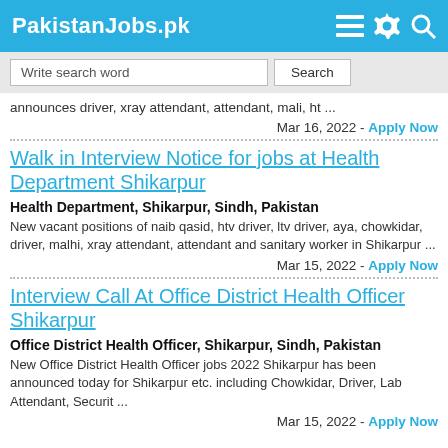PakistanJobs.pk
Write search word | Search
announces driver, xray attendant, attendant, mali, ht ...
Mar 16, 2022 - Apply Now
Walk in Interview Notice for jobs at Health Department Shikarpur
Health Department, Shikarpur, Sindh, Pakistan
New vacant positions of naib qasid, htv driver, ltv driver, aya, chowkidar, driver, malhi, xray attendant, attendant and sanitary worker in Shikarpur ...
Mar 15, 2022 - Apply Now
Interview Call At Office District Health Officer Shikarpur
Office District Health Officer, Shikarpur, Sindh, Pakistan
New Office District Health Officer jobs 2022 Shikarpur has been announced today for Shikarpur etc. including Chowkidar, Driver, Lab Attendant, Securit ...
Mar 15, 2022 - Apply Now